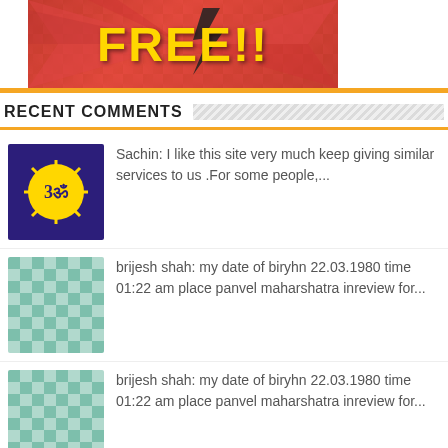[Figure (illustration): Red banner with 'FREE!!' text in gold/yellow, diagonal sunburst background pattern]
RECENT COMMENTS
Sachin: I like this site very much keep giving similar services to us .For some people,...
brijesh shah: my date of biryhn 22.03.1980 time 01:22 am place panvel maharshatra inreview for...
brijesh shah: my date of biryhn 22.03.1980 time 01:22 am place panvel maharshatra inreview for...
[Figure (other): Back to top button with upward arrow, orange rounded square, in dark footer]